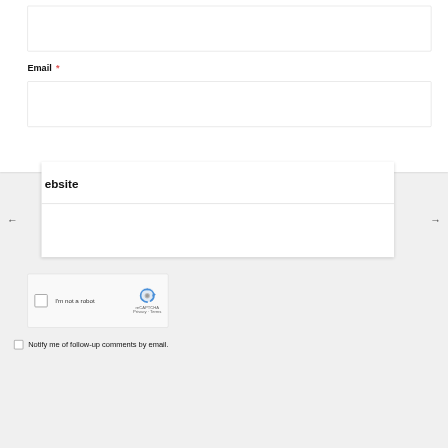(input field 1 — text box)
Email *
(input field 2 — email box)
ebsite
[Figure (screenshot): reCAPTCHA widget with checkbox labeled 'I'm not a robot' and reCAPTCHA logo with Privacy and Terms links]
I'm not a robot
reCAPTCHA
Privacy · Terms
Notify me of follow-up comments by email.